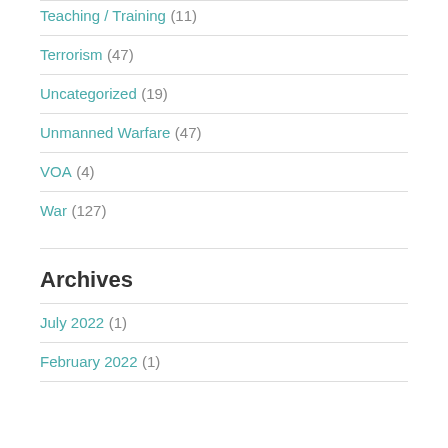Teaching / Training (11)
Terrorism (47)
Uncategorized (19)
Unmanned Warfare (47)
VOA (4)
War (127)
Archives
July 2022 (1)
February 2022 (1)